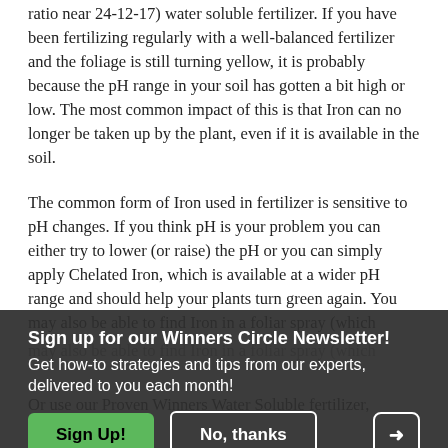ratio near 24-12-17) water soluble fertilizer. If you have been fertilizing regularly with a well-balanced fertilizer and the foliage is still turning yellow, it is probably because the pH range in your soil has gotten a bit high or low. The most common impact of this is that Iron can no longer be taken up by the plant, even if it is available in the soil.
The common form of Iron used in fertilizer is sensitive to pH changes. If you think pH is your problem you can either try to lower (or raise) the pH or you can simply apply Chelated Iron, which is available at a wider pH range and should help your plants turn green again. You may also be able to find Iron in a foliar spray (which ... can also help your plant turn nice and green again. Stop by your favorite garden center and ... you choose a product to use. Or use our Proven Winners Water Soluble fertilizer,
Sign up for our Winners Circle Newsletter!
Get how-to strategies and tips from our experts, delivered to you each month!